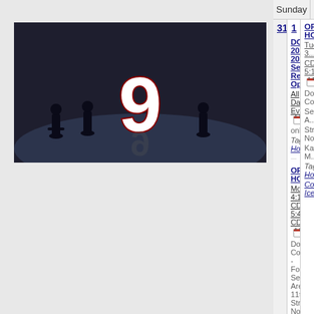[Figure (photo): Hockey players silhouetted on ice rink with large number 9 displayed]
| Sunday | Monday | Tues |
| --- | --- | --- |
| 31 | 1
DCYH 2022-2023 Season Registration Opens
All Day Event
online
Tag(s): Home

OPEN HOCKEY
Monday, 4:15pm CDT-5:45pm CDT
Dodge County - Four Seasons Arena., 11th Street Northeast, Kasson, MN, USA
Tag(s): Home Dodge County Ice Arena | OPEN HOC...
Tuesday, 3...
CDT-5:15p...
Dodge Cou...
Seasons A...
Street Nort...
Kasson, M...
Tag(s): Ho...
County Ice... |
| 7 | 8 |  |